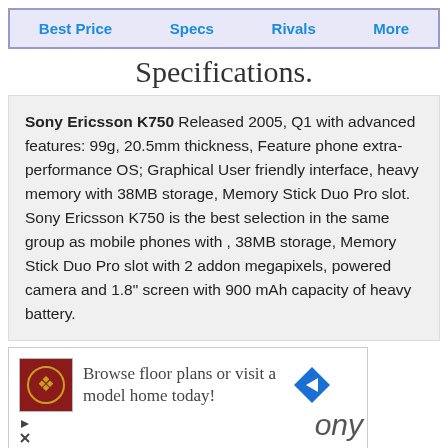Best Price | Specs | Rivals | More
Specifications.
Sony Ericsson K750 Released 2005, Q1 with advanced features: 99g, 20.5mm thickness, Feature phone extra-performance OS; Graphical User friendly interface, heavy memory with 38MB storage, Memory Stick Duo Pro slot. Sony Ericsson K750 is the best selection in the same group as mobile phones with , 38MB storage, Memory Stick Duo Pro slot with 2 addon megapixels, powered camera and 1.8" screen with 900 mAh capacity of heavy battery.
[Figure (other): Advertisement banner: icon with decorative logo, text 'Browse floor plans or visit a model home today!', navigation arrow icon, partial brand text 'ony', with ad controls (play and close buttons)]